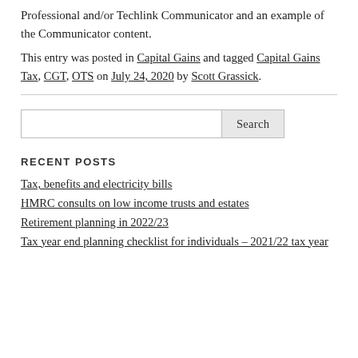Professional and/or Techlink Communicator and an example of the Communicator content.
This entry was posted in Capital Gains and tagged Capital Gains Tax, CGT, OTS on July 24, 2020 by Scott Grassick.
RECENT POSTS
Tax, benefits and electricity bills
HMRC consults on low income trusts and estates
Retirement planning in 2022/23
Tax year end planning checklist for individuals – 2021/22 tax year